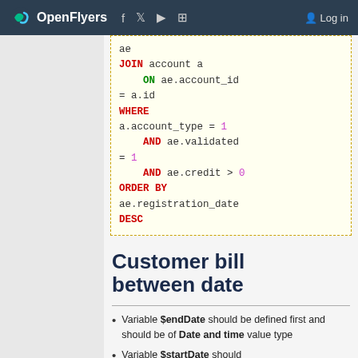OpenFlyers | Log in
[Figure (screenshot): Code block showing SQL query fragment with JOIN, ON, WHERE, AND, ORDER BY, DESC keywords in syntax-highlighted monospace font on light yellow background]
Customer bill between date
Variable $endDate should be defined first and should be of Date and time value type
Variable $startDate should